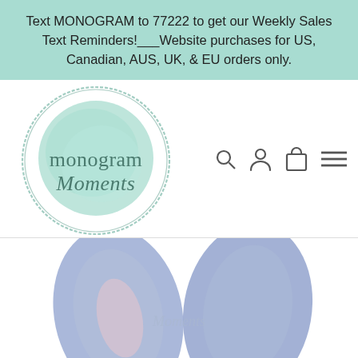Text MONOGRAM to 77222 to get our Weekly Sales Text Reminders!___Website purchases for US, Canadian, AUS, UK, & EU orders only.
[Figure (logo): Monogram Moments logo: circular sketch border with mint watercolor fill circle, text 'monogram Moments' in dark serif/script fonts]
[Figure (illustration): Navigation icons: search (magnifying glass), account (person silhouette), cart (shopping bag), menu (hamburger lines)]
[Figure (photo): Bottom portion of page showing two blue/periwinkle bunny ear shapes, partially cropped, with a faint watermark text]